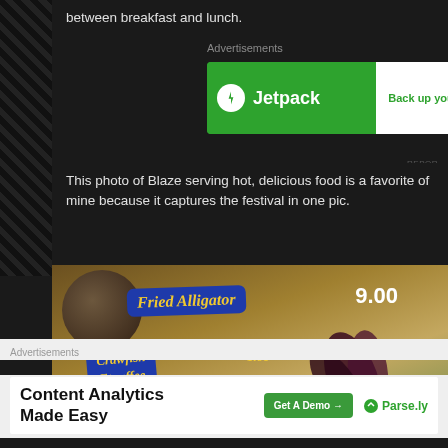between breakfast and lunch.
Advertisements
[Figure (screenshot): Jetpack advertisement banner — green background with Jetpack logo and 'Back up your site' call to action button]
REPORT
This photo of Blaze serving hot, delicious food is a favorite of mine because it captures the festival in one pic.
[Figure (photo): Photo of festival food vendor signs showing 'Fried Alligator 9.00' and 'Crawfish Etouffee' price signs with a person wearing a feathered hat]
Advertisements
[Figure (screenshot): Content Analytics Made Easy advertisement with 'Get A Demo' button and Parse.ly logo]